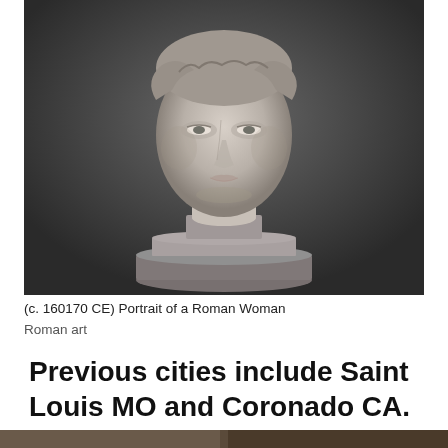[Figure (photo): Photograph of a marble Roman bust of a woman on a sculpted pedestal, set against a dark gray background. The bust shows the head and neck of a Roman woman with classical features, mounted on a decorative columnar base.]
(c. 160170 CE) Portrait of a Roman Woman
Roman art
Previous cities include Saint Louis MO and Coronado CA.